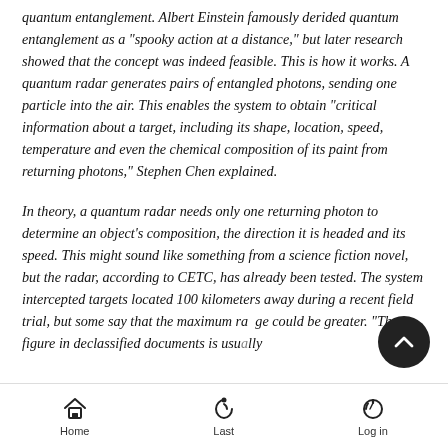quantum entanglement. Albert Einstein famously derided quantum entanglement as a "spooky action at a distance," but later research showed that the concept was indeed feasible. This is how it works. A quantum radar generates pairs of entangled photons, sending one particle into the air. This enables the system to obtain "critical information about a target, including its shape, location, speed, temperature and even the chemical composition of its paint from returning photons," Stephen Chen explained.
In theory, a quantum radar needs only one returning photon to determine an object's composition, the direction it is headed and its speed. This might sound like something from a science fiction novel, but the radar, according to CETC, has already been tested. The system intercepted targets located 100 kilometers away during a recent field trial, but some say that the maximum range could be greater. "The figure in declassified documents is usually
Home  Last  Log in